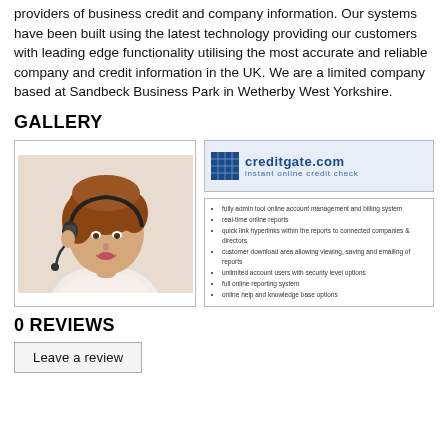providers of business credit and company information. Our systems have been built using the latest technology providing our customers with leading edge functionality utilising the most accurate and reliable company and credit information in the UK. We are a limited company based at Sandbeck Business Park in Wetherby West Yorkshire.
GALLERY
[Figure (photo): Photo of a woman wearing a headset, smiling, customer service representative]
[Figure (logo): creditgate.com logo — instant online credit check]
[Figure (screenshot): List of features including online account management and billing system, reports, hyperlinks, download area, unlimited account users, reporting system, online help and knowledge base]
0 REVIEWS
Leave a review